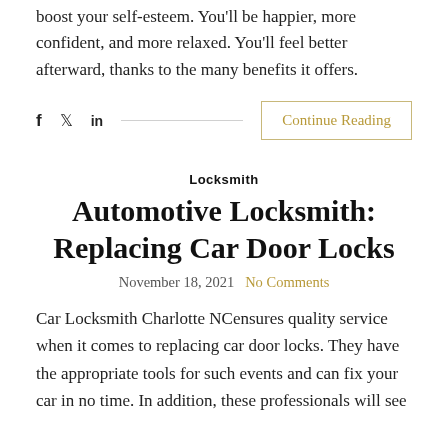boost your self-esteem. You'll be happier, more confident, and more relaxed. You'll feel better afterward, thanks to the many benefits it offers.
f  𝕏  in   [Continue Reading]
Locksmith
Automotive Locksmith: Replacing Car Door Locks
November 18, 2021   No Comments
Car Locksmith Charlotte NCensures quality service when it comes to replacing car door locks. They have the appropriate tools for such events and can fix your car in no time. In addition, these professionals will see